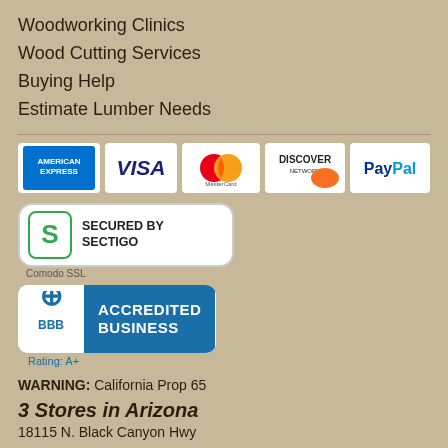Woodworking Clinics
Wood Cutting Services
Buying Help
Estimate Lumber Needs
[Figure (logo): Payment method logos: American Express, Visa, MasterCard, Discover Network, PayPal]
[Figure (logo): Secured by Sectigo badge with Comodo SSL label below]
[Figure (logo): BBB Accredited Business badge with Rating: A+]
WARNING: California Prop 65
3 Stores in Arizona
18115 N. Black Canyon Hwy